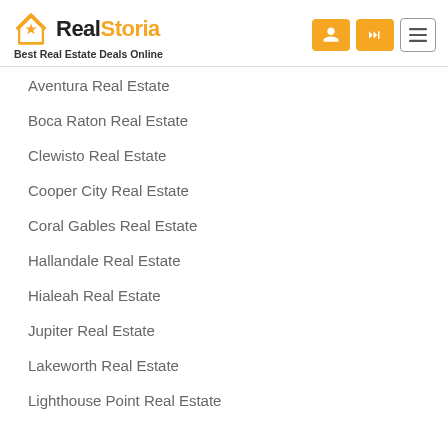RealStoria — Best Real Estate Deals Online
Aventura Real Estate
Boca Raton Real Estate
Clewisto Real Estate
Cooper City Real Estate
Coral Gables Real Estate
Hallandale Real Estate
Hialeah Real Estate
Jupiter Real Estate
Lakeworth Real Estate
Lighthouse Point Real Estate